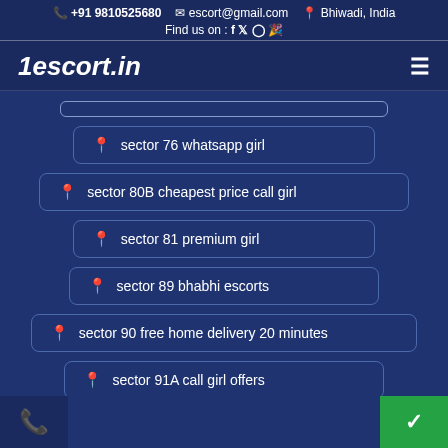+91 9810525680  escort@gmail.com  Bhiwadi, India  Find us on : f y o
1escort.in
sector 76 whatsapp girl
sector 80B cheapest price call girl
sector 81 premium girl
sector 89 bhabhi escorts
sector 90 free home delivery 20 minutes
sector 91A call girl offers